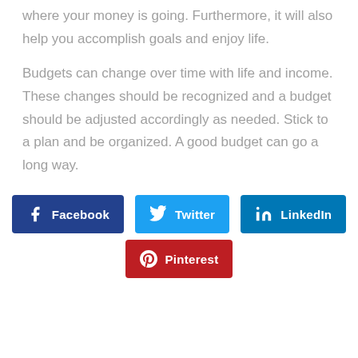where your money is going. Furthermore, it will also help you accomplish goals and enjoy life.
Budgets can change over time with life and income. These changes should be recognized and a budget should be adjusted accordingly as needed. Stick to a plan and be organized. A good budget can go a long way.
[Figure (other): Social share buttons: Facebook (dark blue), Twitter (light blue), LinkedIn (blue), Pinterest (red)]